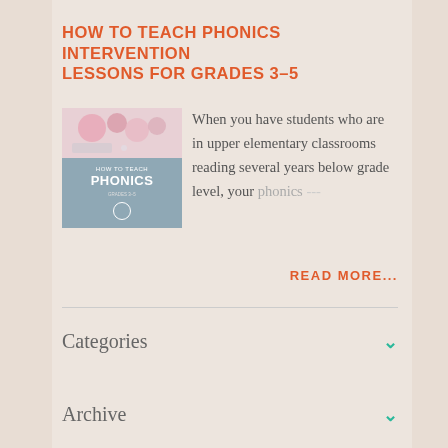HOW TO TEACH PHONICS INTERVENTION LESSONS FOR GRADES 3–5
[Figure (illustration): Thumbnail image for a phonics teaching resource. Top half shows a floral/pink background; bottom half shows text on a teal/blue-gray background reading 'HOW TO TEACH PHONICS' in bold white text.]
When you have students who are in upper elementary classrooms reading several years below grade level, your phonics ---
READ MORE...
Categories
Archive